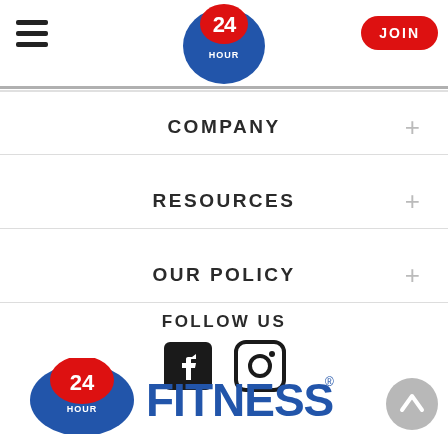[Figure (logo): 24 Hour Fitness circular logo badge in header navigation bar]
[Figure (logo): JOIN button - red pill-shaped button with white text in header]
COMPANY +
RESOURCES +
OUR POLICY +
FOLLOW US
[Figure (logo): Facebook and Instagram social media icons]
[Figure (logo): 24 Hour Fitness logo at bottom of page]
[Figure (other): Gray circular scroll-to-top button with upward chevron arrow]